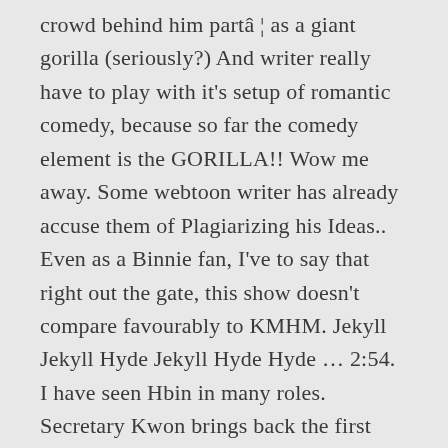crowd behind him partâ ¦ as a giant gorilla (seriously?) And writer really have to play with it's setup of romantic comedy, because so far the comedy element is the GORILLA!! Wow me away. Some webtoon writer has already accuse them of Plagiarizing his Ideas.. Even as a Binnie fan, I've to say that right out the gate, this show doesn't compare favourably to KMHM. Jekyll Jekyll Hyde Jekyll Hyde Hyde … 2:54. I have seen Hbin in many roles. Secretary Kwon brings back the first heart rate monitor and reports that nothing's wrong with it, and Seo-jin is left wondering if maybe it was just the gorilla after all. Berna Peyton. Yeah..so true, she's always screaming because she has bipolar disorder